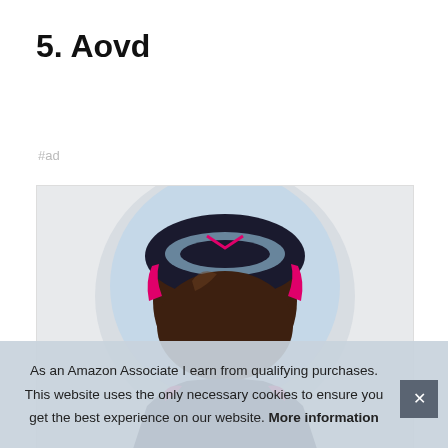5. Aovd
#ad
[Figure (illustration): Anime-style illustration of a character with dark brown hair wearing a black and pink headset/helmet, shown from behind/above in a circular crop on a light background.]
As an Amazon Associate I earn from qualifying purchases. This website uses the only necessary cookies to ensure you get the best experience on our website. More information